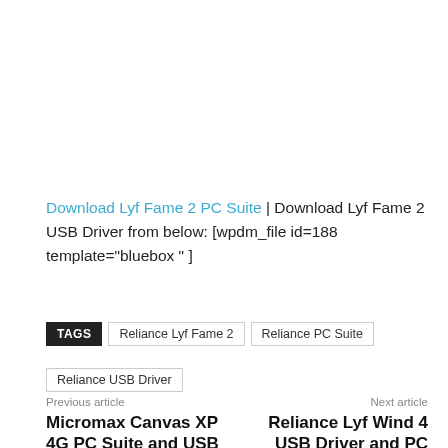Download Lyf Fame 2 PC Suite | Download Lyf Fame 2 USB Driver from below: [wpdm_file id=188 template="bluebox " ]
TAGS  Reliance Lyf Fame 2  Reliance PC Suite  Reliance USB Driver
Previous article
Micromax Canvas XP 4G PC Suite and USB Driver
Next article
Reliance Lyf Wind 4 USB Driver and PC Suite